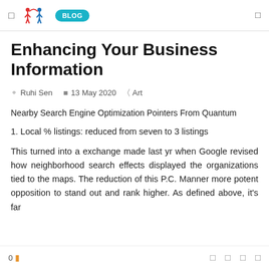BLOG
Enhancing Your Business Information
Ruhi Sen  13 May 2020  Art
Nearby Search Engine Optimization Pointers From Quantum
1. Local % listings: reduced from seven to 3 listings
This turned into a exchange made last yr when Google revised how neighborhood search effects displayed the organizations tied to the maps. The reduction of this P.C. Manner more potent opposition to stand out and rank higher. As defined above, it's far
0